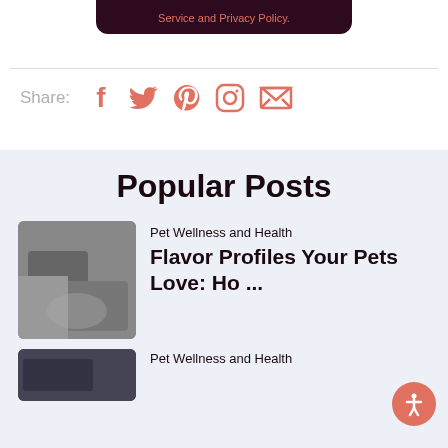Service and Privacy Policy.
Share:
[Figure (infographic): Social share icons: Facebook, Twitter, Pinterest, Instagram, Email in coral/orange color]
Popular Posts
[Figure (photo): Blurred thumbnail image of a pet-related photo]
Pet Wellness and Health
Flavor Profiles Your Pets Love: Ho ...
[Figure (photo): Blurred thumbnail image of a pet-related photo]
Pet Wellness and Health